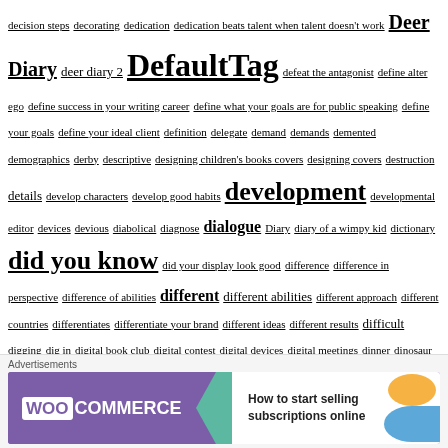decision steps decorating dedication dedication beats talent when talent doesn't work Deer Diary deer diary 2 DefaultTag defeat the antagonist define alter ego define success in your writing career define what your goals are for public speaking define your goals define your ideal client definition delegate demand demands demented demographics derby descriptive designing children's books covers designing covers destruction details develop characters develop good habits development developmental editor devices devious diabolical diagnose dialogue Diary diary of a wimpy kid dictionary did you know did your display look good difference difference in perspective difference of abilities different different abilities different approach different countries differentiates differentiate your brand different ideas different results difficult digging dig in digital book club digital contest digital devices digital meetings dinner dinosaur dentist directions directions and ideas direct marketing direct marketing for authors direct quotation direct selling for authors disappearance discipline discovery discussion dismembering Disney display distance distorted sense if self distracted distractions disturbing divergent thinking
[Figure (screenshot): Advertisement banner for WooCommerce: 'How to start selling subscriptions online']